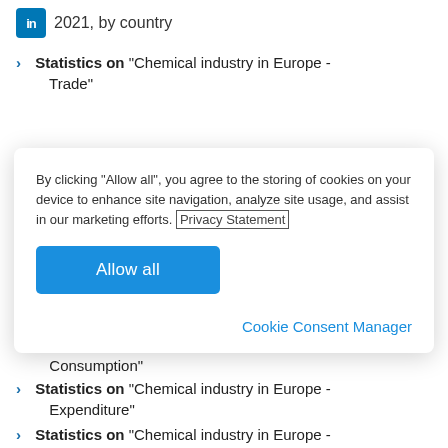2021, by country
Statistics on "Chemical industry in Europe - Trade"
By clicking “Allow all”, you agree to the storing of cookies on your device to enhance site navigation, analyze site usage, and assist in our marketing efforts. Privacy Statement
Allow all
Cookie Consent Manager
Consumption"
Statistics on "Chemical industry in Europe - Expenditure"
Statistics on "Chemical industry in Europe - Environmental impact"